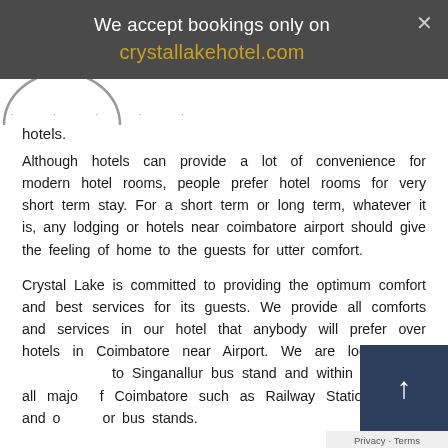We accept bookings only on
crystallakehotel.com
[Figure (logo): Partial circular logo graphic, partially visible at top left of content area]
hotels.
Although hotels can provide a lot of convenience for modern hotel rooms, people prefer hotel rooms for very short term stay. For a short term or long term, whatever it is, any lodging or hotels near coimbatore airport should give the feeling of home to the guests for utter comfort.
Crystal Lake is committed to providing the optimum comfort and best services for its guests. We provide all comforts and services in our hotel that anybody will prefer over hotels in Coimbatore near Airport. We are located very close to Singanallur bus stand and within 15 Km of all major of Coimbatore such as Railway Station, Airport and other major bus stands.